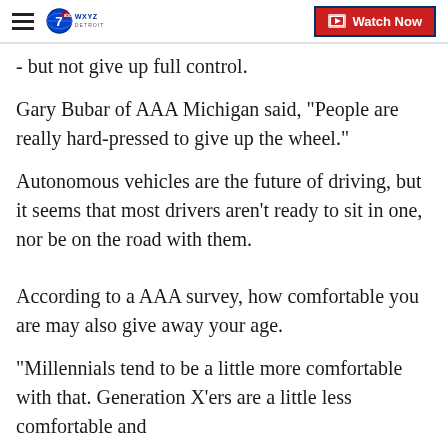WXYZ Detroit | Watch Now
- but not give up full control.
Gary Bubar of AAA Michigan said, "People are really hard-pressed to give up the wheel."
Autonomous vehicles are the future of driving, but it seems that most drivers aren't ready to sit in one, nor be on the road with them.
According to a AAA survey, how comfortable you are may also give away your age.
"Millennials tend to be a little more comfortable with that. Generation X'ers are a little less comfortable and